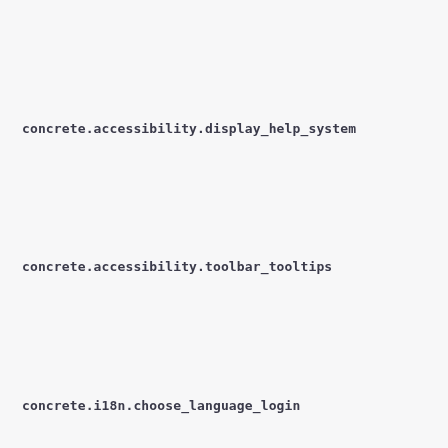concrete.accessibility.display_help_system
concrete.accessibility.toolbar_tooltips
concrete.i18n.choose_language_login
concrete.i18n.auto_install_package_languages